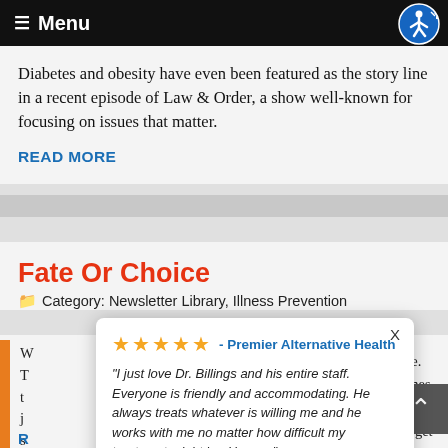≡ Menu
Diabetes and obesity have even been featured as the story line in a recent episode of Law & Order, a show well-known for focusing on issues that matter.
READ MORE
Fate Or Choice
Category: Newsletter Library, Illness Prevention
[Figure (screenshot): Review popup overlay showing 5 stars, Premier Alternative Health, a quote from Ronni Jones praising Dr. Billings and his staff, attributed 3 weeks ago, powered by Review Wave]
"I just love Dr. Billings and his entire staff. Everyone is friendly and accommodating. He always treats whatever is willing me and he works with me no matter how difficult my treatment might be. He us..."
— Ronni Jones, 3 weeks ago